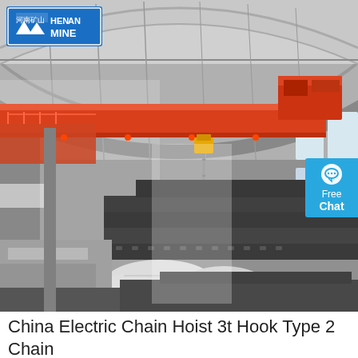[Figure (photo): Industrial overhead bridge crane with red painted beam spanning a large factory hall. The crane has a yellow hook hanging down toward stacked steel materials on the factory floor. The image is partially in color (red crane beam) and partially grayscale (factory interior). A 'HENAN MINE' logo is visible in the top-left corner with a blue background, and a 'Free Chat' button overlay appears on the right side.]
China Electric Chain Hoist 3t Hook Type 2 Chain